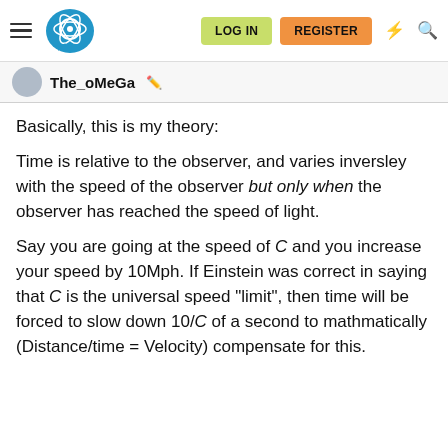LOG IN  REGISTER
The_oMeGa
Basically, this is my theory:
Time is relative to the observer, and varies inversley with the speed of the observer but only when the observer has reached the speed of light.
Say you are going at the speed of C and you increase your speed by 10Mph. If Einstein was correct in saying that C is the universal speed "limit", then time will be forced to slow down 10/C of a second to mathmatically (Distance/time = Velocity) compensate for this.